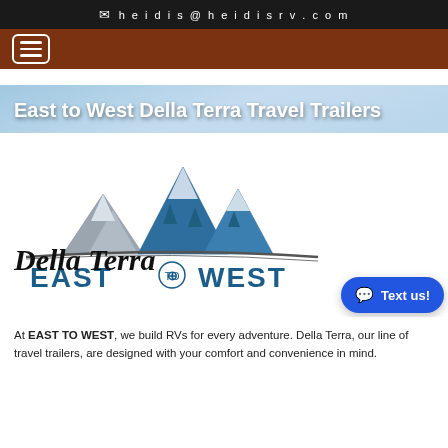heidis@heidisrv.com
[Figure (logo): East to West Della Terra brand logo with mountain peaks and compass rose]
East to West Della Terra Travel Trailers
At EAST TO WEST, we build RVs for every adventure. Della Terra, our line of travel trailers, are designed with your comfort and convenience in mind.